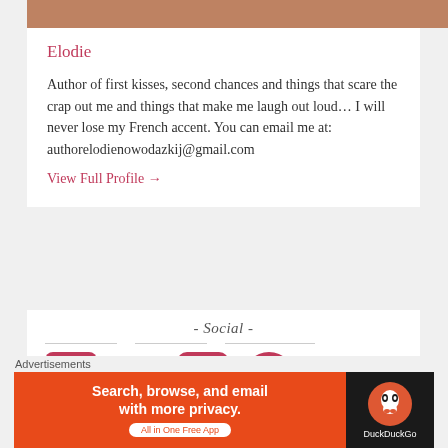[Figure (photo): Partial photo strip at top of page]
Elodie
Author of first kisses, second chances and things that scare the crap out me and things that make me laugh out loud... I will never lose my French accent. You can email me at: authorelodienowodazkij@gmail.com
View Full Profile →
- Social -
[Figure (illustration): Social media icons: Facebook, Twitter, Instagram, Pinterest in red/crimson color]
Search
Advertisements
[Figure (screenshot): DuckDuckGo advertisement banner: Search, browse, and email with more privacy. All in One Free App]